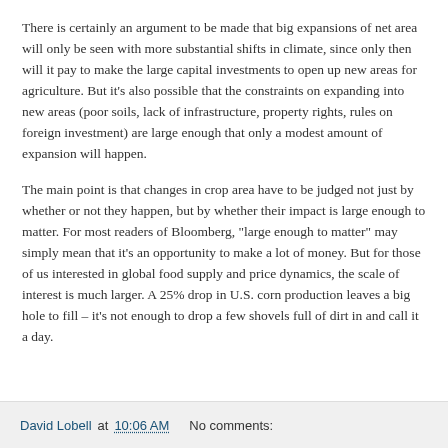There is certainly an argument to be made that big expansions of net area will only be seen with more substantial shifts in climate, since only then will it pay to make the large capital investments to open up new areas for agriculture. But it's also possible that the constraints on expanding into new areas (poor soils, lack of infrastructure, property rights, rules on foreign investment) are large enough that only a modest amount of expansion will happen.
The main point is that changes in crop area have to be judged not just by whether or not they happen, but by whether their impact is large enough to matter. For most readers of Bloomberg, "large enough to matter" may simply mean that it's an opportunity to make a lot of money. But for those of us interested in global food supply and price dynamics, the scale of interest is much larger. A 25% drop in U.S. corn production leaves a big hole to fill – it's not enough to drop a few shovels full of dirt in and call it a day.
David Lobell at 10:06 AM   No comments: